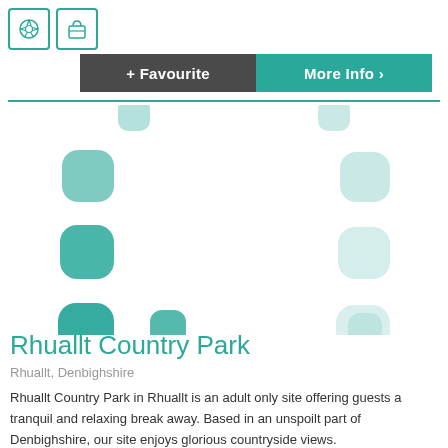[Figure (illustration): Two teal-bordered icons: a football/soccer ball icon and a shopping basket icon]
[Figure (screenshot): Button bar with two buttons: '+ Favourite' on dark grey background and 'More Info >' on teal background]
[Figure (illustration): Decorative loading spinner dots pattern: teal and light teal rounded square blobs arranged in a circular/diagonal pattern on white background]
Rhuallt Country Park
Rhuallt, Denbighshire
Rhuallt Country Park in Rhuallt is an adult only site offering guests a tranquil and relaxing break away. Based in an unspoilt part of Denbighshire, our site enjoys glorious countryside views.